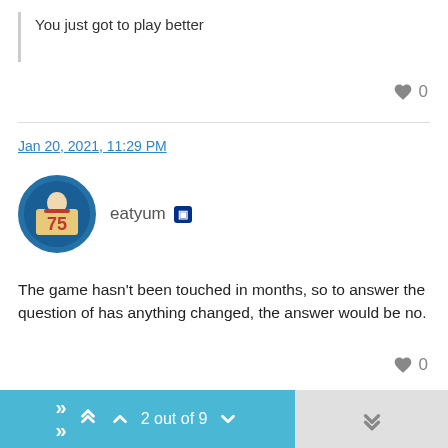You just got to play better
Jan 20, 2021, 11:29 PM
eatyum
The game hasn't been touched in months, so to answer the question of has anything changed, the answer would be no.
2 out of 9